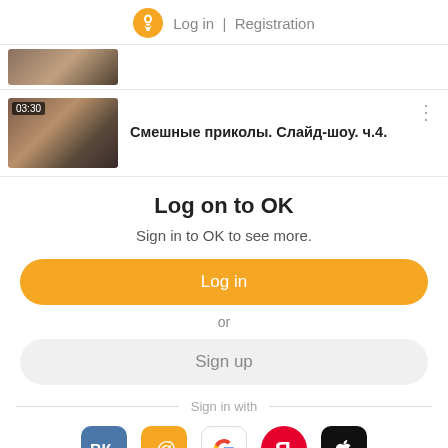Log in | Registration
[Figure (screenshot): Partial video thumbnail at top]
[Figure (screenshot): Video thumbnail with timer 03:30 and title Смешные приколы. Слайд-шоу. ч.4.]
Смешные приколы. Слайд-шоу. ч.4.
Log on to OK
Sign in to OK to see more.
Log in
or
Sign up
Sign in with
[Figure (logo): Social login icons: VK, Mail, Google, Yandex, Apple]